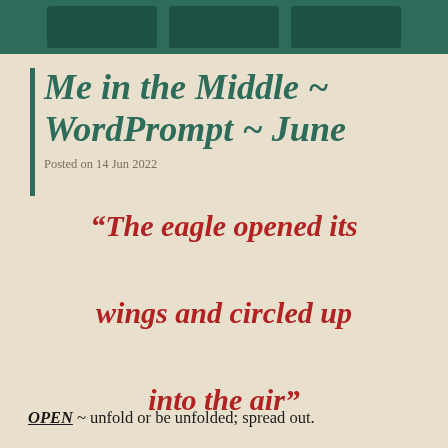[Figure (photo): Green painted wooden panels/shutters visible at the top of the image as a decorative header banner]
Me in the Middle ~ WordPrompt ~ June
Posted on 14 Jun 2022
“The eagle opened its wings and circled up into the air”
OPEN ~ unfold or be unfolded; spread out.